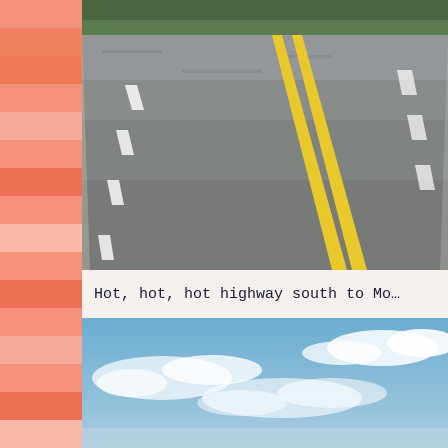[Figure (photo): A highway road surface viewed from a low angle, showing double yellow center lines on gray asphalt, with white dashed lane markings and green vegetation visible at the top edge.]
Hot, hot, hot highway south to Mo…
[Figure (photo): A blue sky with scattered white clouds, viewed from ground level, horizon not fully visible.]